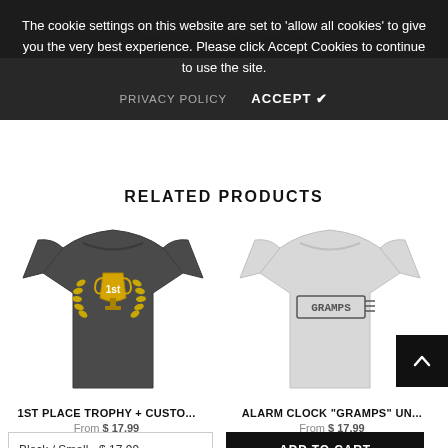Custom T-Shirts & Accessories
The cookie settings on this website are set to 'allow all cookies' to give you the very best experience. Please click Accept Cookies to continue to use the site.
PRIVACY POLICY   ACCEPT ✔
RELATED PRODUCTS
[Figure (photo): Dark grey t-shirt with yellow trophy and laurel wreath design showing '1st' on chest]
1ST PLACE TROPHY + CUSTO...
From $ 17.99
[Figure (photo): Light grey t-shirt with 'GRAMPS' text design on chest]
ALARM CLOCK "GRAMPS" UN...
From $ 17.99
Black / Small - $ 17.99
ADD TO CART